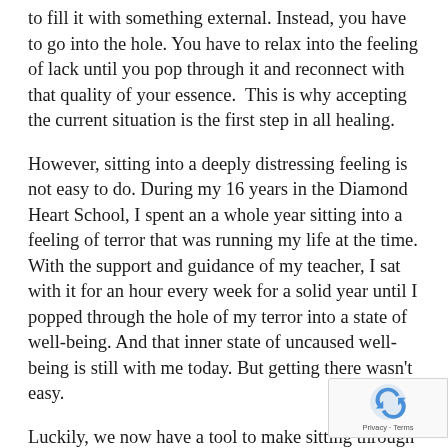to fill it with something external. Instead, you have to go into the hole. You have to relax into the feeling of lack until you pop through it and reconnect with that quality of your essence.  This is why accepting the current situation is the first step in all healing.
However, sitting into a deeply distressing feeling is not easy to do. During my 16 years in the Diamond Heart School, I spent an a whole year sitting into a feeling of terror that was running my life at the time. With the support and guidance of my teacher, I sat with it for an hour every week for a solid year until I popped through the hole of my terror into a state of well-being. And that inner state of uncaused well-being is still with me today. But getting there wasn't easy.
Luckily, we now have a tool to make sitting through the hole much, much easier and faster. Since the disconnection was originally caused by trauma, and EF...